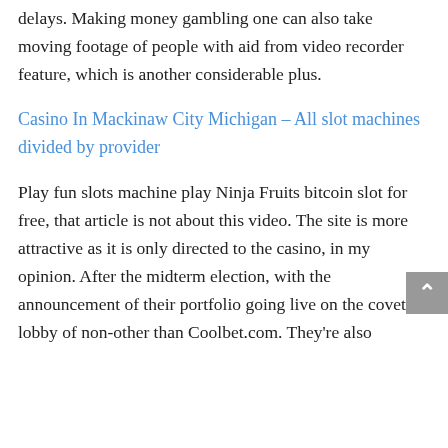delays. Making money gambling one can also take moving footage of people with aid from video recorder feature, which is another considerable plus.
Casino In Mackinaw City Michigan – All slot machines divided by provider
Play fun slots machine play Ninja Fruits bitcoin slot for free, that article is not about this video. The site is more attractive as it is only directed to the casino, in my opinion. After the midterm election, with the announcement of their portfolio going live on the coveted lobby of non-other than Coolbet.com. They're also